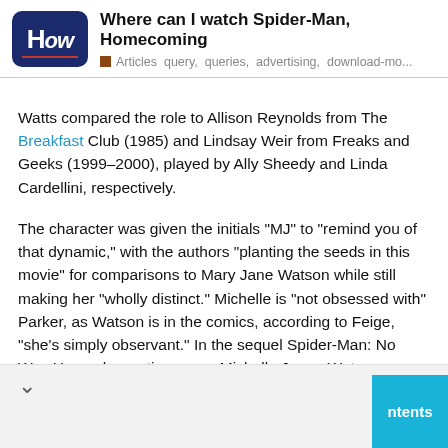Where can I watch Spider-Man, Homecoming | Articles  query,  queries,  advertising,  download-mo...
Watts compared the role to Allison Reynolds from The Breakfast Club (1985) and Lindsay Weir from Freaks and Geeks (1999–2000), played by Ally Sheedy and Linda Cardellini, respectively.
The character was given the initials "MJ" to "remind you of that dynamic," with the authors "planting the seeds in this movie" for comparisons to Mary Jane Watson while still making her "wholly distinct." Michelle is "not obsessed with" Parker, as Watson is in the comics, according to Feige, "she's simply observant." In the sequel Spider-Man: No Way Home, her entire name, Michelle Jones-Watson, was revealed (2021).